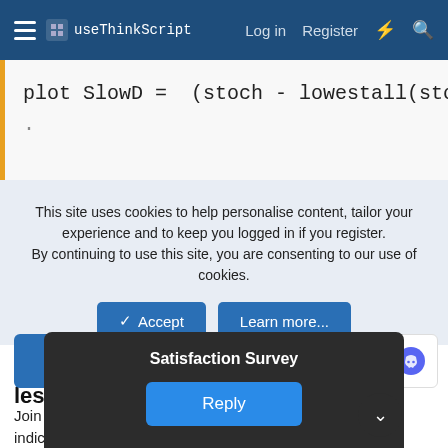useThinkScript   Log in   Register
This site uses cookies to help personalise content, tailor your experience and to keep you logged in if you register. By continuing to use this site, you are consenting to our use of cookies.
Accept   Learn more...
Make better trading decisions with less noise
Join useThinkScript to stay update to date on the latest indicators, trade strategies, and tips for thinkorswim.
Satisfaction Survey
Reply